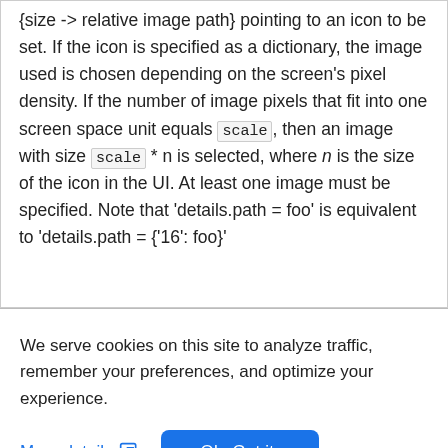{size -> relative image path} pointing to an icon to be set. If the icon is specified as a dictionary, the image used is chosen depending on the screen's pixel density. If the number of image pixels that fit into one screen space unit equals `scale`, then an image with size `scale` * n is selected, where n is the size of the icon in the UI. At least one image must be specified. Note that 'details.path = foo' is equivalent to 'details.path = {'16': foo}'
We serve cookies on this site to analyze traffic, remember your preferences, and optimize your experience.
More details
Ok, Got it.